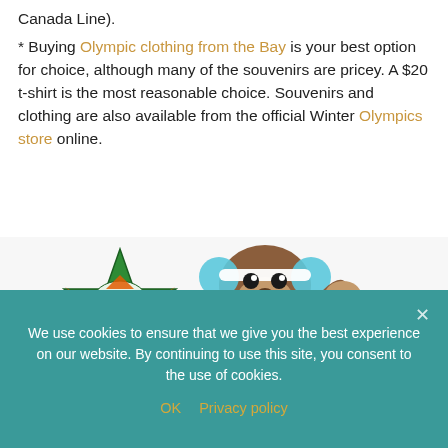Canada Line).

* Buying Olympic clothing from the Bay is your best option for choice, although many of the souvenirs are pricey. A $20 t-shirt is the most reasonable choice. Souvenirs and clothing are also available from the official Winter Olympics store online.
[Figure (illustration): Vancouver 2010 Winter Olympics mascots — a stylized sasquatch/sloth character with blue earmuffs waving, and a green totem-style figure, with 'vancouver 2010' text logo]
We use cookies to ensure that we give you the best experience on our website. By continuing to use this site, you consent to the use of cookies.
OK   Privacy policy